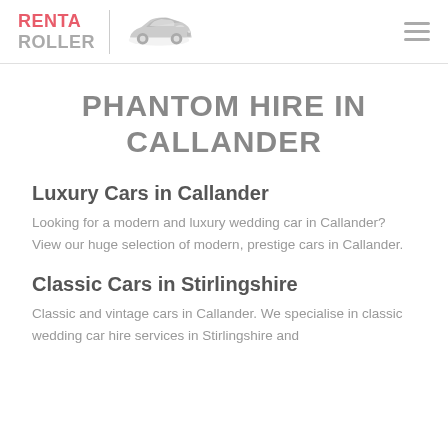RENT A ROLLER
PHANTOM HIRE IN CALLANDER
Luxury Cars in Callander
Looking for a modern and luxury wedding car in Callander? View our huge selection of modern, prestige cars in Callander.
Classic Cars in Stirlingshire
Classic and vintage cars in Callander. We specialise in classic wedding car hire services in Stirlingshire and